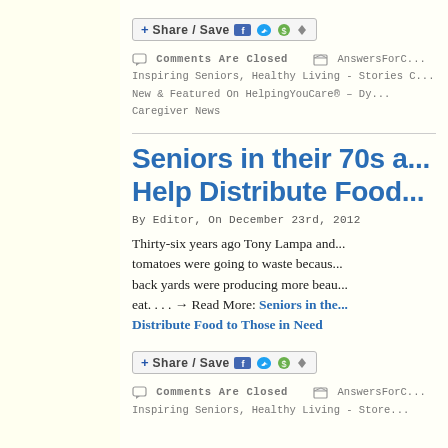[Figure (other): Share/Save social sharing button with Facebook, Twitter, and other social media icons]
Comments Are Closed  AnswersForC... Inspiring Seniors, Healthy Living - Stories C... New & Featured On HelpingYouCare® – Dy... Caregiver News
Seniors in their 70s a... Help Distribute Food...
By Editor, On December 23rd, 2012
Thirty-six years ago Tony Lampa and... tomatoes were going to waste becaus... back yards were producing more beau... eat. . . . → Read More: Seniors in the... Distribute Food to Those in Need
[Figure (other): Share/Save social sharing button with Facebook, Twitter, and other social media icons]
Comments Are Closed  AnswersForC... Inspiring Seniors, Healthy Living - Store...